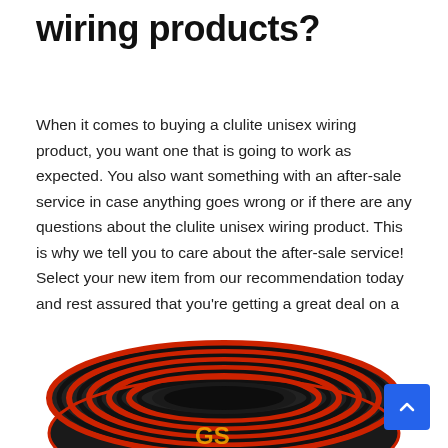wiring products?
When it comes to buying a clulite unisex wiring product, you want one that is going to work as expected. You also want something with an after-sale service in case anything goes wrong or if there are any questions about the clulite unisex wiring product. This is why we tell you to care about the after-sale service! Select your new item from our recommendation today and rest assured that you're getting a great deal on a quality product!
[Figure (photo): A coil of red and black striped electrical wire with a logo partially visible at the bottom, shown against a white background.]